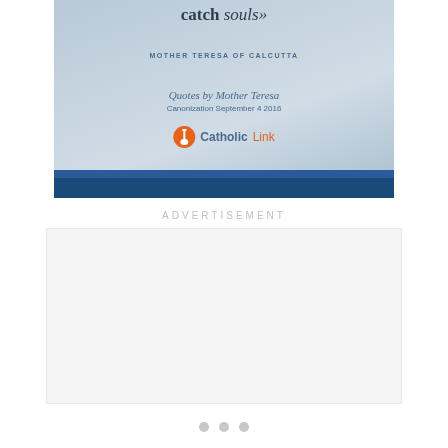[Figure (illustration): A promotional card featuring a blurred photo of a person in the background with overlaid text showing a quote about catching souls, attributed to Mother Teresa of Calcutta, along with CatholicLink branding and decorative blue stripes at the bottom.]
ADVERTISEMENT